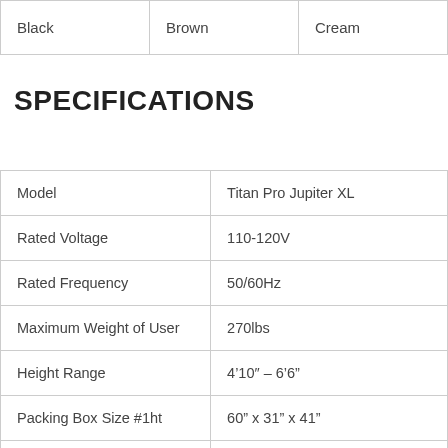| Black | Brown | Cream |
SPECIFICATIONS
| Attribute | Value |
| --- | --- |
| Model | Titan Pro Jupiter XL |
| Rated Voltage | 110-120V |
| Rated Frequency | 50/60Hz |
| Maximum Weight of User | 270lbs |
| Height Range | 4’10″ – 6’6” |
| Packing Box Size #1ht | 60” x 31” x 41” |
| Packing Box Size #2 | 21” x 18” x 21” |
| Packing Box Size #3 | 40” x 16” x 26” |